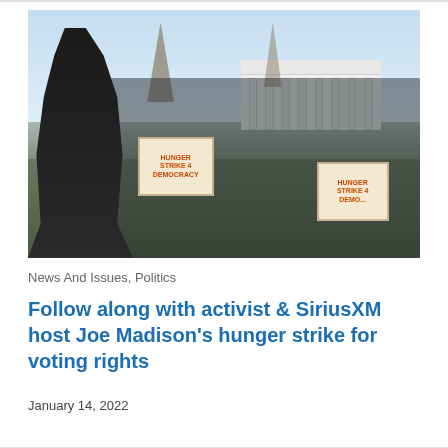[Figure (photo): Outdoor scene showing a Black man speaking to a crowd in front of the White House. People in the crowd wear masks and winter clothing. Two signs visible read 'HUNGER STRIKE 4 DEMOCRACY' in orange text on beige signs.]
News And Issues, Politics
Follow along with activist & SiriusXM host Joe Madison's hunger strike for voting rights
January 14, 2022